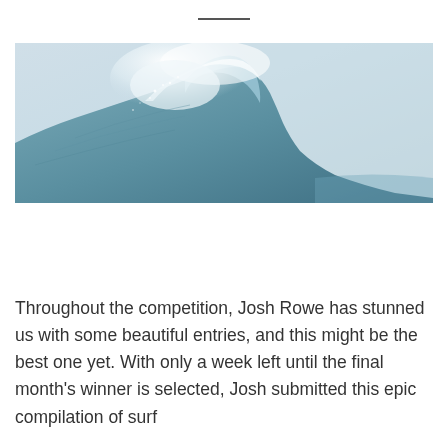[Figure (photo): A large ocean wave breaking, with white foam and spray at the crest against a pale blue-grey sky background.]
Throughout the competition, Josh Rowe has stunned us with some beautiful entries, and this might be the best one yet. With only a week left until the final month's winner is selected, Josh submitted this epic compilation of surf